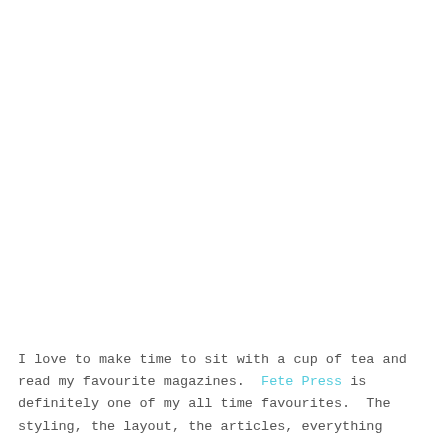I love to make time to sit with a cup of tea and read my favourite magazines.  Fete Press is definitely one of my all time favourites.  The styling, the layout, the articles, everything